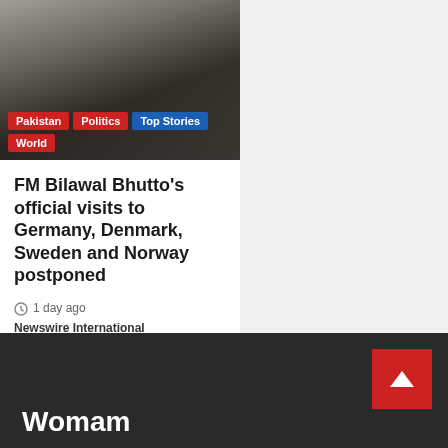[Figure (photo): Photo of FM Bilawal Bhutto in a dark suit, gesturing with hands, with colored fabric/flag in background]
FM Bilawal Bhutto's official visits to Germany, Denmark, Sweden and Norway postponed
1 day ago  Newswire International
Womam